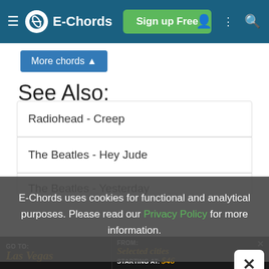E-Chords | Sign up Free
More chords ▲
See Also:
Radiohead - Creep
The Beatles - Hey Jude
The Beatles - Yesterday
E-Chords uses cookies for functional and analytical purposes. Please read our Privacy Policy for more information.
[Figure (screenshot): Advertisement banner: GO TO: Las Vegas / From: Selected cities / Starting at: $46]